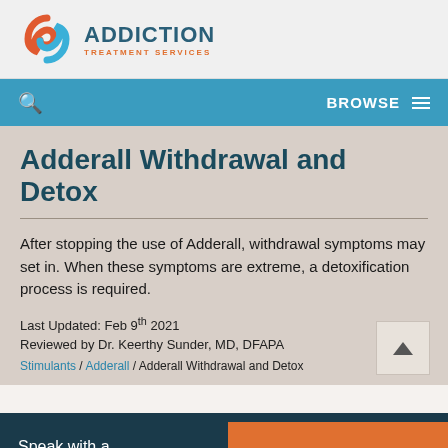[Figure (logo): Addiction Treatment Services logo with swirling red and blue icon and text 'ADDICTION TREATMENT SERVICES']
BROWSE
Adderall Withdrawal and Detox
After stopping the use of Adderall, withdrawal symptoms may set in. When these symptoms are extreme, a detoxification process is required.
Last Updated: Feb 9th 2021
Reviewed by Dr. Keerthy Sunder, MD, DFAPA
Stimulants / Adderall / Adderall Withdrawal and Detox
Speak with a Professional Now:
TREATMENT OPTIONS